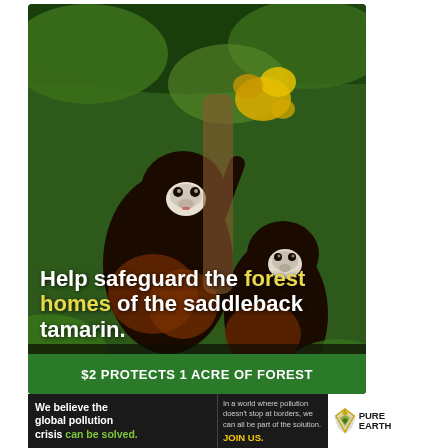[Figure (photo): Two saddleback tamarins (small black and brown monkeys with white face markings) clinging to tree branches with yellow tropical flowers, forest background]
Help safeguard the forest homes of the saddleback tamarin.
$2 PROTECTS 1 ACRE OF FOREST
We believe the global pollution crisis can be solved.
In a world where pollution doesn't stop at borders, we can all be part of the solution. JOIN US.
[Figure (logo): Pure Earth logo - diamond/arrow shape in gold/green with text PURE EARTH]